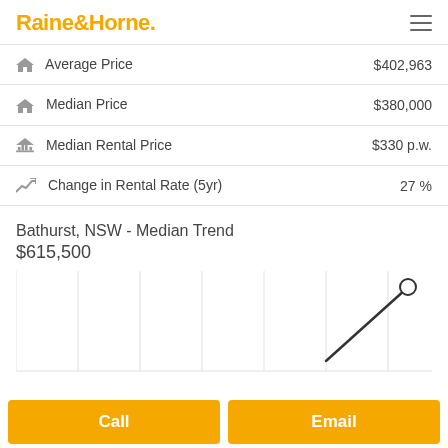Raine&Horne.
| Metric | Value |
| --- | --- |
| Average Price | $402,963 |
| Median Price | $380,000 |
| Median Rental Price | $330 p.w. |
| Change in Rental Rate (5yr) | 27 % |
Bathurst, NSW - Median Trend
$615,500
[Figure (line-chart): Partial line chart showing median trend for Bathurst, NSW. A line rises sharply toward the upper right with a circle marker at the top right endpoint. Vertical gridlines visible. Chart is cut off at bottom.]
Call   Email